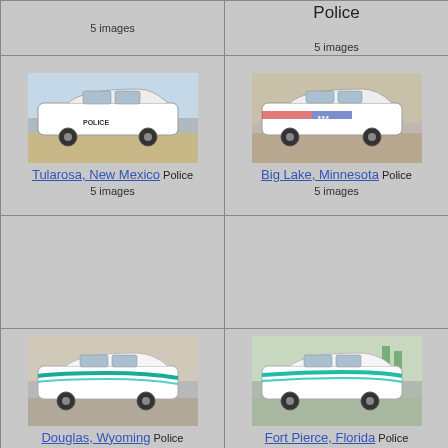5 images
Police
5 images
[Figure (photo): Tularosa, New Mexico police car - white Ford Crown Victoria with POLICE lettering]
Tularosa, New Mexico Police
5 images
[Figure (photo): Big Lake, Minnesota police car - white Ford Crown Victoria with patriotic flag design]
Big Lake, Minnesota Police
5 images
[Figure (photo): Douglas, Wyoming police car - white Ford Crown Victoria with teal/blue stripe design]
Douglas, Wyoming Police
5 images
[Figure (photo): Fort Pierce, Florida police car - white Ford Crown Victoria with teal/green stripe design]
Fort Pierce, Florida Police
5 images
[Figure (photo): Partial police car image at bottom left]
[Figure (photo): Partial police car image at bottom right]